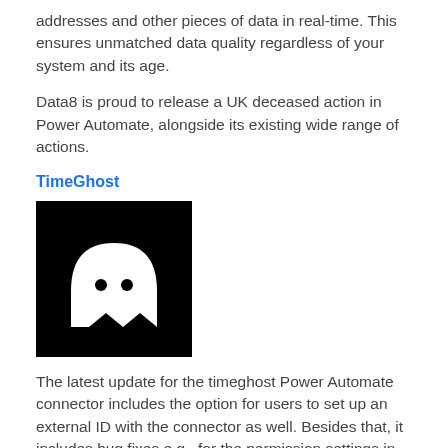addresses and other pieces of data in real-time. This ensures unmatched data quality regardless of your system and its age.
Data8 is proud to release a UK deceased action in Power Automate, alongside its existing wide range of actions.
TimeGhost
[Figure (logo): TimeGhost logo: white ghost icon on black square background]
The latest update for the timeghost Power Automate connector includes the option for users to set up an external ID with the connector as well. Besides that, it includes bug fixes e.g., for the permission settings in timeghost.
Was ist Power Automate?
Power Automate ist ein Dienst zum Automatisieren von